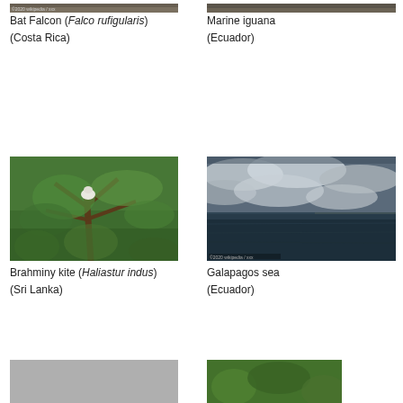[Figure (photo): Bat Falcon (Falco rufigularis) perched, Costa Rica — top portion visible]
Bat Falcon (Falco rufigularis)
(Costa Rica)
[Figure (photo): Marine iguana, Ecuador — top portion visible]
Marine iguana
(Ecuador)
[Figure (photo): Brahminy kite (Haliastur indus) in tree, Sri Lanka]
Brahminy kite (Haliastur indus)
(Sri Lanka)
[Figure (photo): Galapagos sea with dramatic cloudy sky, Ecuador]
Galapagos sea
(Ecuador)
[Figure (photo): Grey sky/bird photo — bottom of page, partially visible]
[Figure (photo): Bird among green foliage — bottom of page, partially visible]